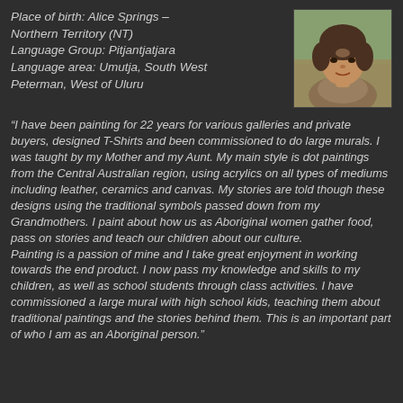Place of birth: Alice Springs – Northern Territory (NT)
Language Group: Pitjantjatjara
Language area: Umutja, South West Peterman, West of Uluru
[Figure (photo): Headshot photo of a woman, outdoors background]
“I have been painting for 22 years for various galleries and private buyers, designed T-Shirts and been commissioned to do large murals. I was taught by my Mother and my Aunt. My main style is dot paintings from the Central Australian region, using acrylics on all types of mediums including leather, ceramics and canvas. My stories are told though these designs using the traditional symbols passed down from my Grandmothers. I paint about how us as Aboriginal women gather food, pass on stories and teach our children about our culture.
Painting is a passion of mine and I take great enjoyment in working towards the end product. I now pass my knowledge and skills to my children, as well as school students through class activities. I have commissioned a large mural with high school kids, teaching them about traditional paintings and the stories behind them. This is an important part of who I am as an Aboriginal person.”